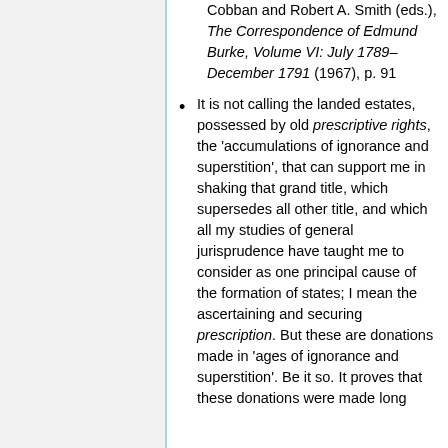Cobban and Robert A. Smith (eds.), The Correspondence of Edmund Burke, Volume VI: July 1789–December 1791 (1967), p. 91
It is not calling the landed estates, possessed by old prescriptive rights, the 'accumulations of ignorance and superstition', that can support me in shaking that grand title, which supersedes all other title, and which all my studies of general jurisprudence have taught me to consider as one principal cause of the formation of states; I mean the ascertaining and securing prescription. But these are donations made in 'ages of ignorance and superstition'. Be it so. It proves that these donations were made long